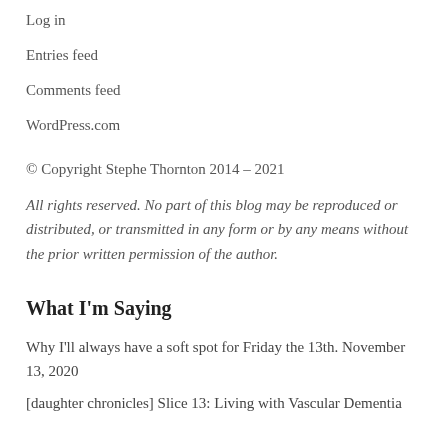Log in
Entries feed
Comments feed
WordPress.com
© Copyright Stephe Thornton 2014 – 2021
All rights reserved. No part of this blog may be reproduced or distributed, or transmitted in any form or by any means without the prior written permission of the author.
What I'm Saying
Why I'll always have a soft spot for Friday the 13th. November 13, 2020
[daughter chronicles] Slice 13: Living with Vascular Dementia